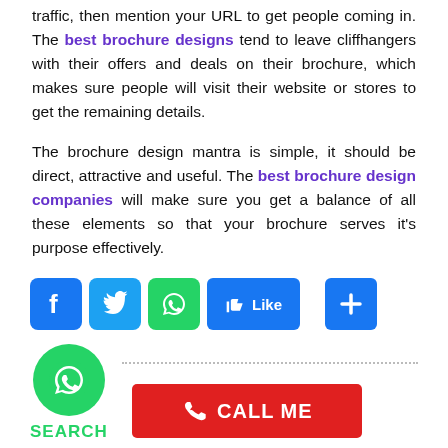traffic, then mention your URL to get people coming in. The best brochure designs tend to leave cliffhangers with their offers and deals on their brochure, which makes sure people will visit their website or stores to get the remaining details.
The brochure design mantra is simple, it should be direct, attractive and useful. The best brochure design companies will make sure you get a balance of all these elements so that your brochure serves it's purpose effectively.
[Figure (infographic): Social media share buttons: Facebook, Twitter, WhatsApp icons, Like button, plus button]
[Figure (infographic): WhatsApp circle icon, SEARCH label in green, CALL ME button in red]
SEARCH
CALL ME